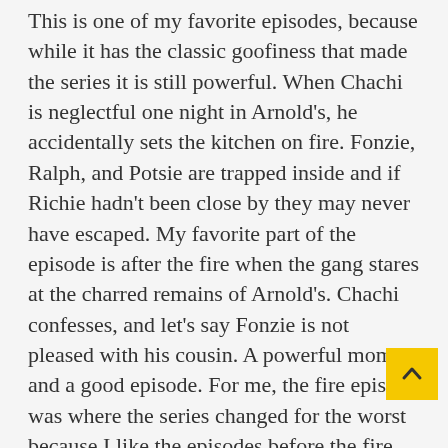This is one of my favorite episodes, because while it has the classic goofiness that made the series it is still powerful. When Chachi is neglectful one night in Arnold's, he accidentally sets the kitchen on fire. Fonzie, Ralph, and Potsie are trapped inside and if Richie hadn't been close by they may never have escaped. My favorite part of the episode is after the fire when the gang stares at the charred remains of Arnold's. Chachi confesses, and let's say Fonzie is not pleased with his cousin. A powerful moment and a good episode. For me, the fire episode was where the series changed for the worst because I like the episodes before the fire, and disliked the episodes after with the new Arnold's which alw looked more like a set than a diner to me.
Webster